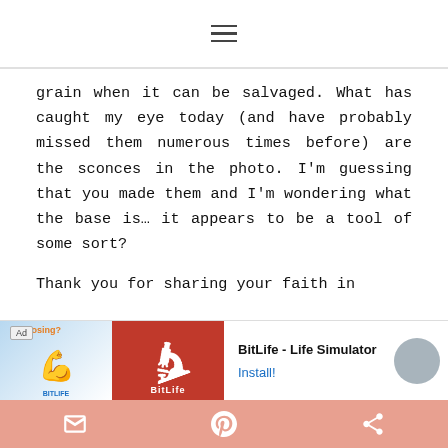[Figure (screenshot): Hamburger menu icon (three horizontal lines) centered in the top navigation bar]
grain when it can be salvaged. What has caught my eye today (and have probably missed them numerous times before) are the sconces in the photo. I'm guessing that you made them and I'm wondering what the base is… it appears to be a tool of some sort?

Thank you for sharing your faith in
[Figure (screenshot): Advertisement banner for BitLife - Life Simulator app with 'Ad' label, Choosing? text, flexing arm emoji graphic on blue background, BitLife sperm logo on red background, app title 'BitLife - Life Simulator', and 'Install!' link]
[Figure (screenshot): Bottom toolbar with salmon/coral background containing email icon, Pinterest icon, and share icon in white]